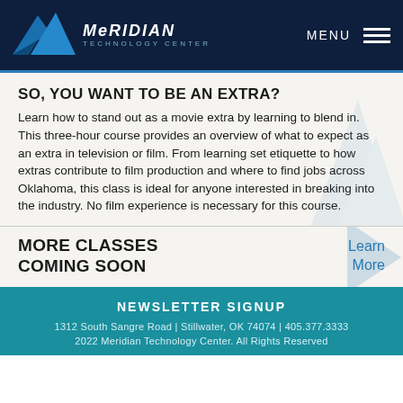[Figure (logo): Meridian Technology Center logo with blue mountain/triangle shapes and company name]
SO, YOU WANT TO BE AN EXTRA?
Learn how to stand out as a movie extra by learning to blend in. This three-hour course provides an overview of what to expect as an extra in television or film. From learning set etiquette to how extras contribute to film production and where to find jobs across Oklahoma, this class is ideal for anyone interested in breaking into the industry. No film experience is necessary for this course.
MORE CLASSES COMING SOON
Learn More
NEWSLETTER SIGNUP
1312 South Sangre Road | Stillwater, OK 74074 | 405.377.3333
2022 Meridian Technology Center. All Rights Reserved